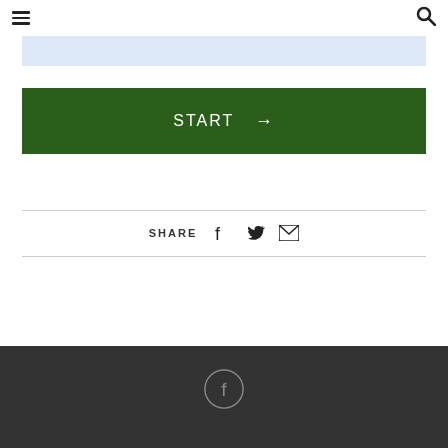Navigation menu and search icons
[Figure (screenshot): Light blue banner strip]
[Figure (screenshot): Dark green START button with right arrow]
SHARE (with Facebook, Twitter, and email icons)
Footer with Facebook circle icon